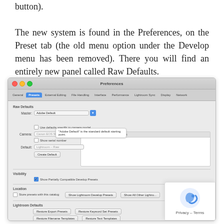button).
The new system is found in the Preferences, on the Preset tab (the old menu option under the Develop menu has been removed). There you will find an entirely new panel called Raw Defaults.
[Figure (screenshot): macOS Preferences dialog showing the Presets tab with Raw Defaults section. Master dropdown shows Adobe Default with tooltip. Camera and Default dropdowns shown greyed out. Visibility section with Show Partially Compatible Develop Presets checkbox checked. Location section with Store presets with this catalog checkbox. Lightroom Defaults section with restore buttons. Privacy/Terms overlay in bottom-right corner.]